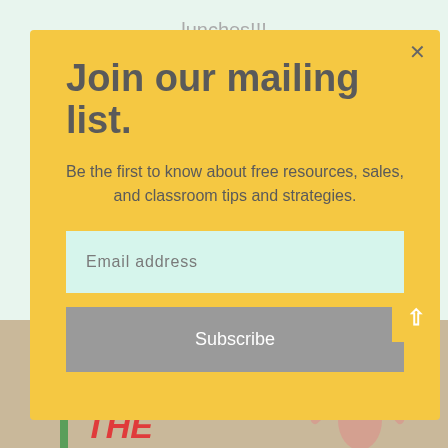lunches!!!
Join our mailing list.
Be the first to know about free resources, sales, and classroom tips and strategies.
Email address
Subscribe
[Figure (illustration): Christmas Around The banner with illustrated character in Santa hat]